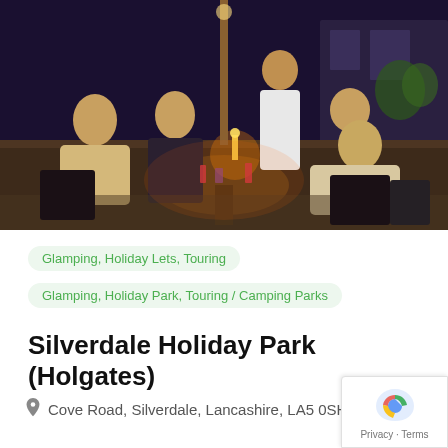[Figure (photo): Group of people dining outdoors at a round table in the evening, with candles and drinks, at what appears to be a holiday park setting]
Glamping, Holiday Lets, Touring
Glamping, Holiday Park, Touring / Camping Parks
Silverdale Holiday Park (Holgates)
Cove Road, Silverdale, Lancashire, LA5 0SH